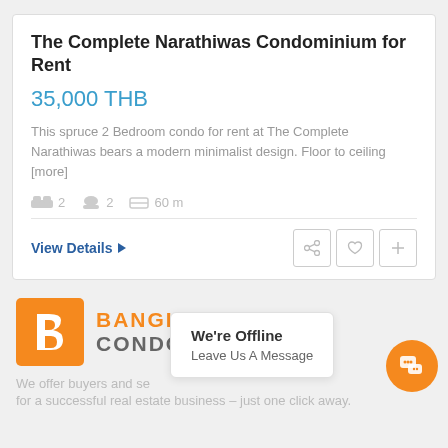The Complete Narathiwas Condominium for Rent
35,000 THB
This spruce 2 Bedroom condo for rent at The Complete Narathiwas bears a modern minimalist design. Floor to ceiling [more]
2  2  60 m
View Details ▶
[Figure (logo): Bangkok Condo Finder logo with orange square icon containing letter b and orange/gray text]
We offer buyers and se...
for a successful real estate business – just one click away.
We're Offline
Leave Us A Message